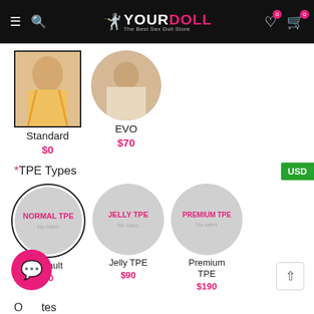YOURDOLL - The Best Sex Doll Store
[Figure (photo): Standard skeleton option - rectangular product photo of doll in yellow top]
Standard
$0
[Figure (photo): EVO skeleton option - circular product photo of doll in white wrap]
EVO
$70
*TPE Types
[Figure (other): NORMAL TPE option circle - gray circle with pink label NORMAL TPE, selected with border]
Default
$0
[Figure (other): JELLY TPE option circle - gray circle with pink label JELLY TPE]
Jelly TPE
$90
[Figure (other): PREMIUM TPE option circle - gray circle with pink label PREMIUM TPE]
Premium TPE
$190
Other Notes
Please let us know your special requirements here.